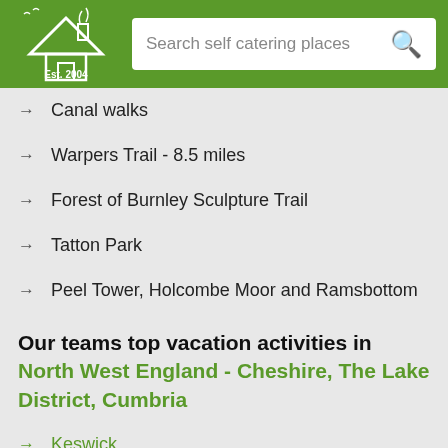Search self catering places
Canal walks
Warpers Trail - 8.5 miles
Forest of Burnley Sculpture Trail
Tatton Park
Peel Tower, Holcombe Moor and Ramsbottom
Our teams top vacation activities in North West England - Cheshire, The Lake District, Cumbria
Keswick
Manchester Ship Canal
Chester Roman Amphitheatre